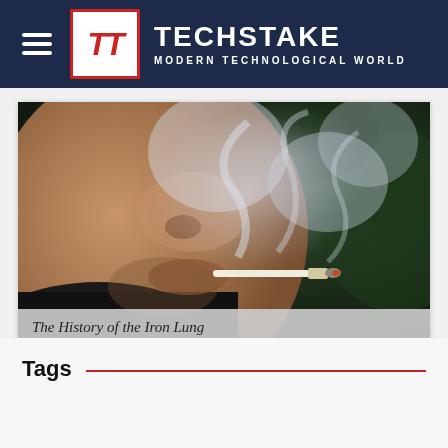TECHSTAKE — MODERN TECHNOLOGICAL WORLD
[Figure (photo): Close-up photograph of a person smoking a cigarette with visible smoke swirling around, taken against a dark background.]
The History of the Iron Lung
Tags